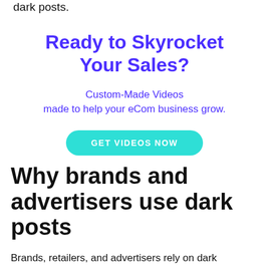dark posts.
Ready to Skyrocket Your Sales?
Custom-Made Videos made to help your eCom business grow.
GET VIDEOS NOW
Why brands and advertisers use dark posts
Brands, retailers, and advertisers rely on dark